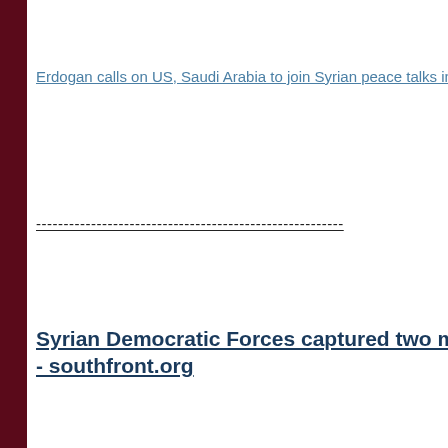Erdogan calls on US, Saudi Arabia to join Syrian peace talks in Asta
--------------------------------------------------------
Syrian Democratic Forces captured two more dist - southfront.org
Deadly raid by ISIS in Raqqa city leaves two SDF
US-backed Kurdish forces recapture key Division - almasdarnews.com
US setting up military facility in Tabqah town in S - southfront.org